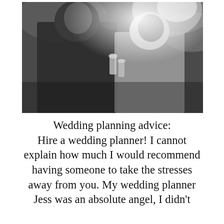[Figure (photo): Black and white photograph of a couple at a wedding, leaning their heads together and holding champagne glasses, with blurred floral background.]
Wedding planning advice: Hire a wedding planner! I cannot explain how much I would recommend having someone to take the stresses away from you. My wedding planner Jess was an absolute angel, I didn't